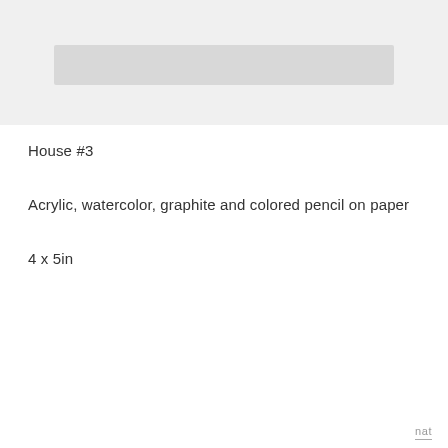[Figure (photo): Partial view of an artwork image, mostly cropped, showing a light gray background placeholder area]
House #3
Acrylic, watercolor, graphite and colored pencil on paper
4 x 5in
nat